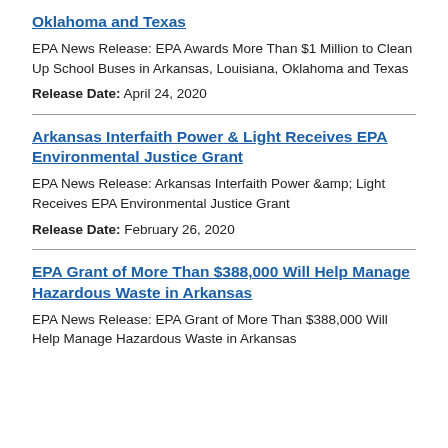Oklahoma and Texas
EPA News Release: EPA Awards More Than $1 Million to Clean Up School Buses in Arkansas, Louisiana, Oklahoma and Texas
Release Date: April 24, 2020
Arkansas Interfaith Power & Light Receives EPA Environmental Justice Grant
EPA News Release: Arkansas Interfaith Power &amp; Light Receives EPA Environmental Justice Grant
Release Date: February 26, 2020
EPA Grant of More Than $388,000 Will Help Manage Hazardous Waste in Arkansas
EPA News Release: EPA Grant of More Than $388,000 Will Help Manage Hazardous Waste in Arkansas